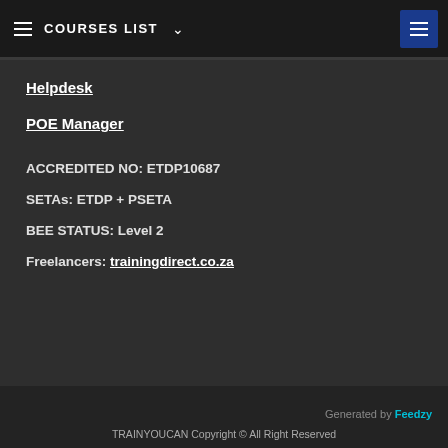COURSES LIST
Helpdesk
POE Manager
ACCREDITED NO: ETDP10687
SETAs: ETDP + PSETA
BEE STATUS: Level 2
Freelancers: trainingdirect.co.za
Generated by Feedzy
TRAINYOUCAN Copyright © All Right Reserved